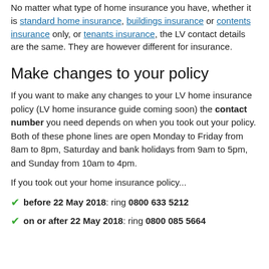No matter what type of home insurance you have, whether it is standard home insurance, buildings insurance or contents insurance only, or tenants insurance, the LV contact details are the same. They are however different for insurance.
Make changes to your policy
If you want to make any changes to your LV home insurance policy (LV home insurance guide coming soon) the contact number you need depends on when you took out your policy. Both of these phone lines are open Monday to Friday from 8am to 8pm, Saturday and bank holidays from 9am to 5pm, and Sunday from 10am to 4pm.
If you took out your home insurance policy...
before 22 May 2018: ring 0800 633 5212
on or after 22 May 2018: ring 0800 085 5664